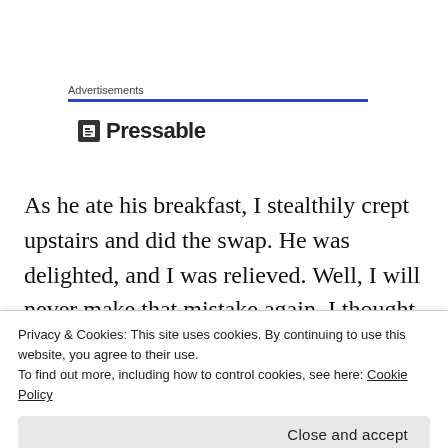Advertisements
[Figure (logo): Pressable logo with dark square icon and text 'Pressable']
As he ate his breakfast, I stealthily crept upstairs and did the swap. He was delighted, and I was relieved. Well, I will never make that mistake again, I thought to myself. But I did, 3 more times in fact.
So it was, that at 6 am on Saturday morning, I was
Privacy & Cookies: This site uses cookies. By continuing to use this website, you agree to their use.
To find out more, including how to control cookies, see here: Cookie Policy
Close and accept